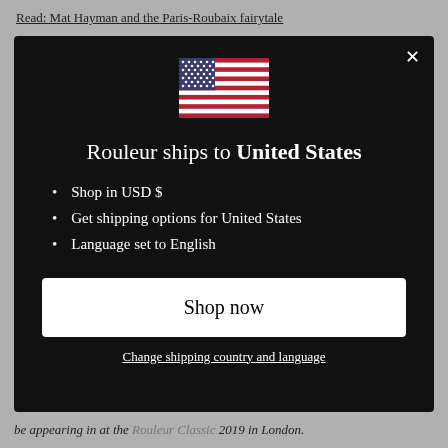Read: Mat Hayman and the Paris-Roubaix fairytale
[Figure (illustration): US flag emoji / illustration shown centered inside modal dialog]
Rouleur ships to United States
Shop in USD $
Get shipping options for United States
Language set to English
Shop now
Change shipping country and language
be appearing in at the Rouleur Classic 2019 in London.